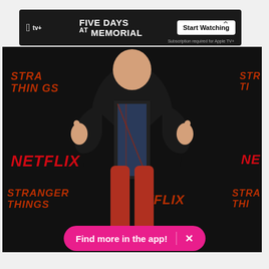[Figure (infographic): Apple TV+ advertisement banner for 'Five Days at Memorial' with 'Start Watching' button and 'Subscription required for Apple TV+' text. A chevron/caret pointing up appears to the right.]
[Figure (photo): A person wearing a black leather jacket, plaid shirt, and red pants giving two thumbs up at a Stranger Things 2 Netflix premiere backdrop. The backdrop shows 'NETFLIX' and 'STRANGER THINGS 2' logos in red on a dark background.]
Find more in the app!  ×